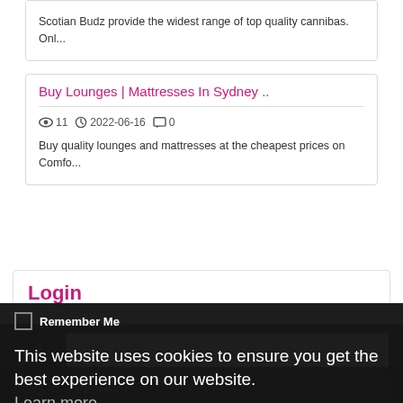Scotian Budz provide the widest range of top quality cannibas. Onl...
Buy Lounges | Mattresses In Sydney ..
11   2022-06-16   0
Buy quality lounges and mattresses at the cheapest prices on Comfo...
Login
This website uses cookies to ensure you get the best experience on our website.
Learn more
Got it!
Remember Me
Register | Forgot Password?
Log In